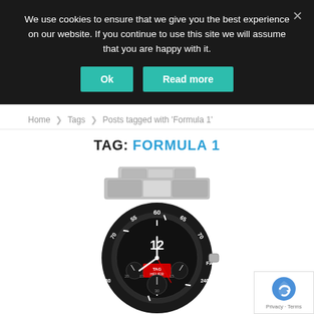We use cookies to ensure that we give you the best experience on our website. If you continue to use this site we will assume that you are happy with it.
Ok
Read more
Home > Tags > Posts tagged with 'Formula 1'
TAG: FORMULA 1
[Figure (photo): TAG Heuer Formula 1 Fangio Edition chronograph watch with stainless steel bracelet and black bezel, showing the dial with 12 numeral, sub-dials, and FANGIO text on bezel]